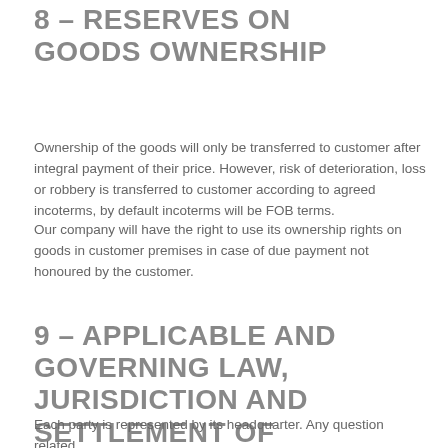8 – RESERVES ON GOODS OWNERSHIP
Ownership of the goods will only be transferred to customer after integral payment of their price. However, risk of deterioration, loss or robbery is transferred to customer according to agreed incoterms, by default incoterms will be FOB terms.
Our company will have the right to use its ownership rights on goods in customer premises in case of due payment not honoured by the customer.
9 – APPLICABLE AND GOVERNING LAW, JURISDICTION AND SETTLEMENT OF DISPUTE
Each party is represented by its headquarter. Any question related